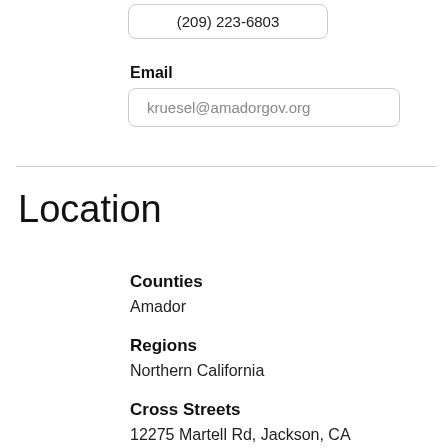(209) 223-6803
Email
kruesel@amadorgov.org
Location
Counties
Amador
Regions
Northern California
Cross Streets
12275 Martell Rd, Jackson, CA